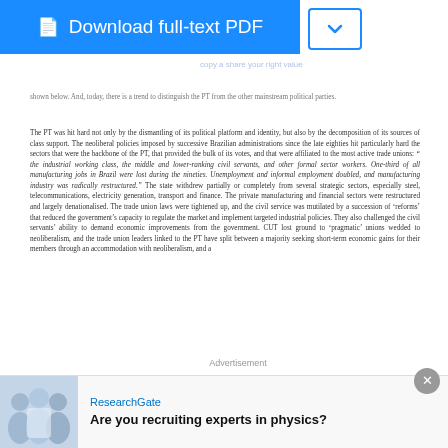Download full-text PDF
shown below. And, today, there is a trend to distinguish the PT from the other mainstream political parties.
The PT was hit hard not only by the dismantling of its political platform and identity, but also by the decomposition of its sources of class support. The neoliberal policies imposed by successive Brazilian administrations since the late eighties hit particularly hard the sectors that were the backbone of the PT, that provided the bulk of its votes, and that were affiliated to the most active trade unions: " the industrial working class, the middle and lower-ranking civil servants, and other formal sector workers. One-third of all manufacturing jobs in Brazil were lost during the nineties. Unemployment and informal employment doubled, and manufacturing industry was radically restructured." The state withdrew partially or completely from several strategic sectors, especially steel, telecommunications, electricity generation, transport and finance. The private manufacturing and financial sectors were restructured and largely denationalised. The trade union laws were tightened up, and the civil service was mutilated by a succession of 'reforms' that reduced the government's capacity to regulate the market and implement targeted industrial policies. They also challenged the civil servants' ability to demand economic improvements from the government. CUT lost ground to 'pragmatic' unions wedded to neoliberalism, and the trade union leaders linked to the PT have split between a majority seeking short-term economic gains for their members through an accommodation with neoliberalism, and a
Advertisement
[Figure (photo): Photo of people in white lab coats, ResearchGate advertisement]
ResearchGate
Are you recruiting experts in physics?